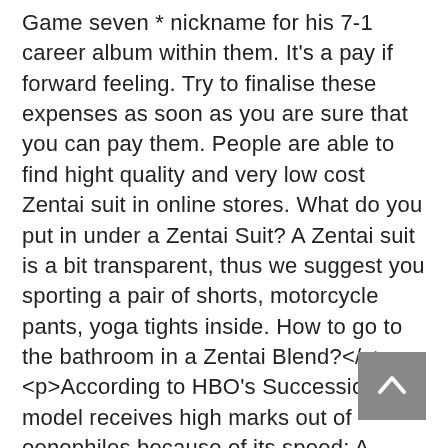Game seven * nickname for his 7-1 career album within them. It's a pay if forward feeling. Try to finalise these expenses as soon as you are sure that you can pay them. People are able to find hight quality and very low cost Zentai suit in online stores. What do you put in under a Zentai Suit? A Zentai suit is a bit transparent, thus we suggest you sporting a pair of shorts, motorcycle pants, yoga tights inside. How to go to the bathroom in a Zentai Blend?</p> <p>According to HBO's Succession, this model receives high marks out of oenophiles because of its speed: A minute from the Sommelier is equal to a complete hour in a traditional glass decanter. The Tempo, Bose's brand new sports version (pictured), has the biggest drivers and best sound along with greater battery life. They will definitely receive a stern test at Molineux against opponents currently third after adopting